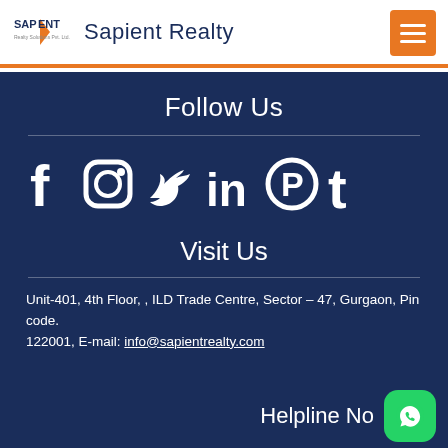Sapient Realty
Follow Us
[Figure (infographic): Social media icons: Facebook, Instagram, Twitter, LinkedIn, Pinterest, Tumblr]
Visit Us
Unit-401, 4th Floor,  , ILD Trade Centre, Sector – 47, Gurgaon, Pin code. 122001, E-mail: info@sapientrealty.com
Helpline No